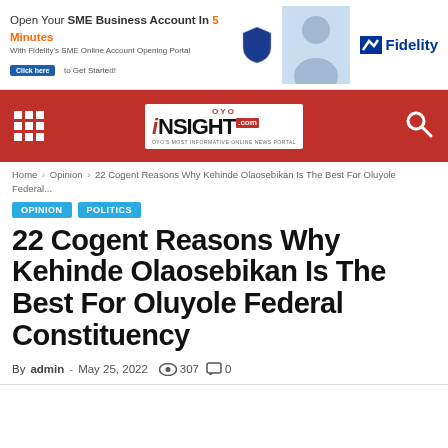[Figure (other): Fidelity Bank advertisement banner: Open Your SME Business Account In 5 Minutes. With Fidelity's SME Online Account Opening Portal. Click here to Get Started! Fidelity logo on right with woman photo.]
OYO INSIGHT.COM - OYOS MOST INFORMATIVE ONLINE NEWS PORTAL
Home > Opinion > 22 Cogent Reasons Why Kehinde Olaosebikan Is The Best For Oluyole Federal...
OPINION
POLITICS
22 Cogent Reasons Why Kehinde Olaosebikan Is The Best For Oluyole Federal Constituency
By admin - May 25, 2022  307  0